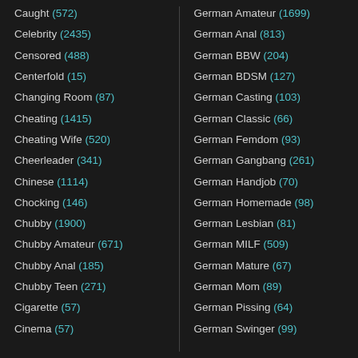Caught (572)
Celebrity (2435)
Censored (488)
Centerfold (15)
Changing Room (87)
Cheating (1415)
Cheating Wife (520)
Cheerleader (341)
Chinese (1114)
Chocking (146)
Chubby (1900)
Chubby Amateur (671)
Chubby Anal (185)
Chubby Teen (271)
Cigarette (57)
Cinema (57)
German Amateur (1699)
German Anal (813)
German BBW (204)
German BDSM (127)
German Casting (103)
German Classic (66)
German Femdom (93)
German Gangbang (261)
German Handjob (70)
German Homemade (98)
German Lesbian (81)
German MILF (509)
German Mature (67)
German Mom (89)
German Pissing (64)
German Swinger (99)